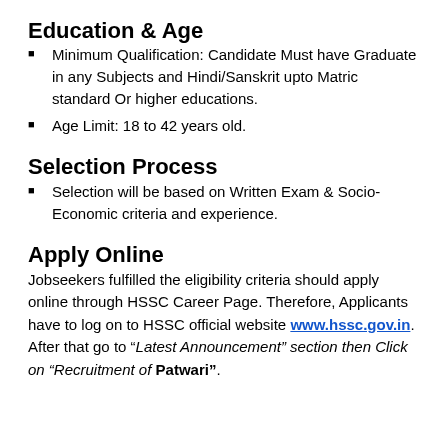Education & Age
Minimum Qualification: Candidate Must have Graduate in any Subjects and Hindi/Sanskrit upto Matric standard Or higher educations.
Age Limit: 18 to 42 years old.
Selection Process
Selection will be based on Written Exam & Socio-Economic criteria and experience.
Apply Online
Jobseekers fulfilled the eligibility criteria should apply online through HSSC Career Page. Therefore, Applicants have to log on to HSSC official website www.hssc.gov.in. After that go to “Latest Announcement” section then Click on “Recruitment of Patwari”.